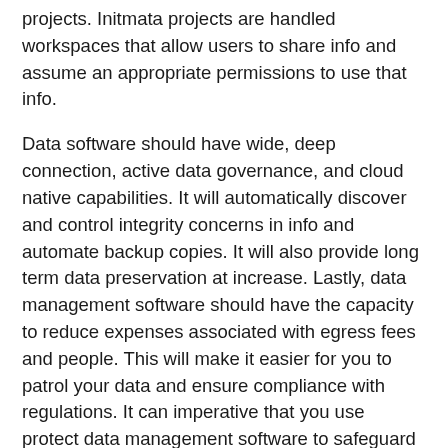projects. Initmata projects are handled workspaces that allow users to share info and assume an appropriate permissions to use that info.
Data software should have wide, deep connection, active data governance, and cloud native capabilities. It will automatically discover and control integrity concerns in info and automate backup copies. It will also provide long term data preservation at increase. Lastly, data management software should have the capacity to reduce expenses associated with egress fees and people. This will make it easier for you to patrol your data and ensure compliance with regulations. It can imperative that you use protect data management software to safeguard your data and protect this from potential disasters.
Protected Data Administration is the conceptual practice of anticipating potential risk and crafting a plan to reply appropriately. This course of action considers almost all potential situations and provides a “how to” meant for worst-